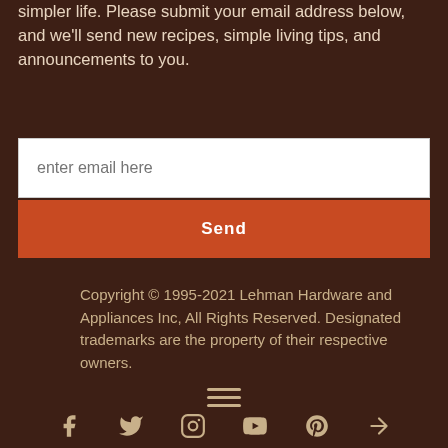simpler life. Please submit your email address below, and we'll send new recipes, simple living tips, and announcements to you.
enter email here
Send
Copyright © 1995-2021 Lehman Hardware and Appliances Inc, All Rights Reserved. Designated trademarks are the property of their respective owners.
[Figure (other): Hamburger menu icon (three horizontal lines)]
[Figure (other): Social media icons row at the bottom: Facebook, Twitter, Instagram, YouTube, Pinterest, and another icon]